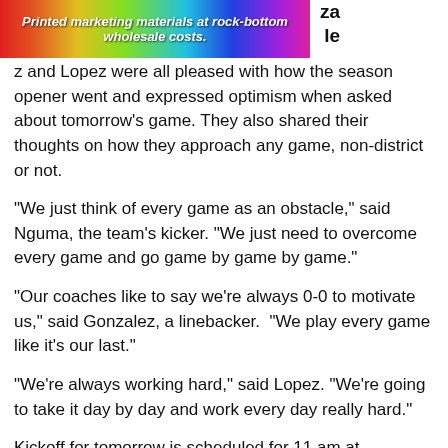[Figure (illustration): Colorful rainbow-gradient advertisement banner reading 'Printed marketing materials at rock-bottom wholesale costs.' with partial text 'za le' to the right]
z and Lopez were all pleased with how the season opener went and expressed optimism when asked about tomorrow's game. They also shared their thoughts on how they approach any game, non-district or not.
“We just think of every game as an obstacle,” said Nguma, the team’s kicker. “We just need to overcome every game and go game by game by game.”
“Our coaches like to say we’re always 0-0 to motivate us,” said Gonzalez, a linebacker.  “We play every game like it’s our last.”
“We’re always working hard,” said Lopez. “We’re going to take it day by day and work every day really hard.”
Kickoff for tomorrow is scheduled for 11 am at Brownsville’s Sams Memorial Stadium. The Rattlers open District 16-5A Div. II play at home against Edcouch-Elsa next Friday night.
[Figure (other): Three social media share buttons: Facebook (blue f), Twitter (blue bird), and a blue plus/share button]